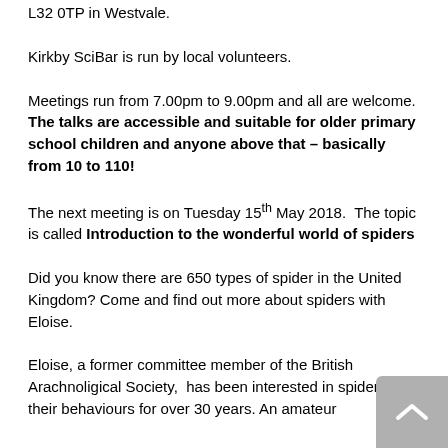L32 0TP in Westvale.
Kirkby SciBar is run by local volunteers.
Meetings run from 7.00pm to 9.00pm and all are welcome. The talks are accessible and suitable for older primary school children and anyone above that – basically from 10 to 110!
The next meeting is on Tuesday 15th May 2018. The topic is called Introduction to the wonderful world of spiders
Did you know there are 650 types of spider in the United Kingdom? Come and find out more about spiders with Eloise.
Eloise, a former committee member of the British Arachnoligical Society, has been interested in spiders and their behaviours for over 30 years. An amateur